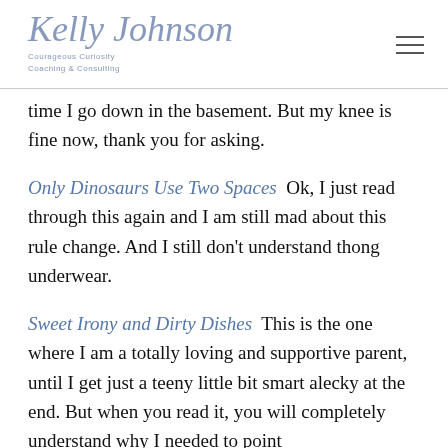Kelly Johnson Courageous Curiosity Coaching & Consulting
time I go down in the basement. But my knee is fine now, thank you for asking.
Only Dinosaurs Use Two Spaces  Ok, I just read through this again and I am still mad about this rule change. And I still don't understand thong underwear.
Sweet Irony and Dirty Dishes  This is the one where I am a totally loving and supportive parent, until I get just a teeny little bit smart alecky at the end. But when you read it, you will completely understand why I needed to point